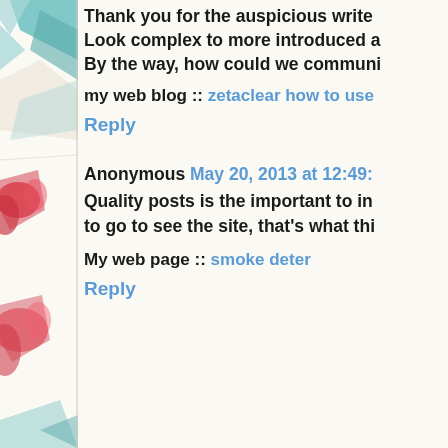[Figure (illustration): Decorative left sidebar with colorful geometric and floral pattern — teal/blue triangles, red/pink abstract shapes on cream background]
Thank you for the auspicious write Look complex to more introduced a By the way, how could we communi
my web blog :: zetaclear how to use
Reply
Anonymous May 20, 2013 at 12:49:
Quality posts is the important to im to go to see the site, that's what thi
My web page :: smoke deter
Reply